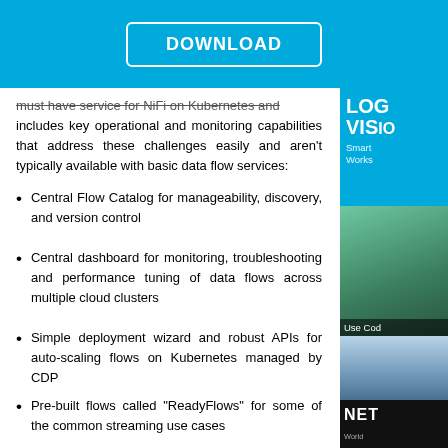DOWNLOAD
must have service for NiFi on Kubernetes and includes key operational and monitoring capabilities that address these challenges easily and aren't typically available with basic data flow services:
Central Flow Catalog for manageability, discovery, and version control
Central dashboard for monitoring, troubleshooting and performance tuning of data flows across multiple cloud clusters
Simple deployment wizard and robust APIs for auto-scaling flows on Kubernetes managed by CDP
Pre-built flows called "ReadyFlows" for some of the common streaming use cases
Pricing and Availability
Cloudera DataFlow for the Public Cloud is now generally available on AWS. For more information